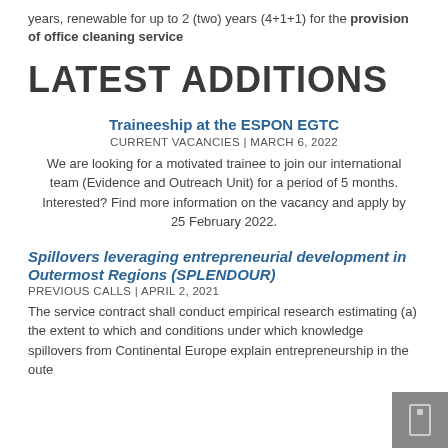years, renewable for up to 2 (two) years (4+1+1) for the provision of office cleaning service
LATEST ADDITIONS
Traineeship at the ESPON EGTC
CURRENT VACANCIES | March 6, 2022
We are looking for a motivated trainee to join our international team (Evidence and Outreach Unit) for a period of 5 months. Interested? Find more information on the vacancy and apply by 25 February 2022.
Spillovers leveraging entrepreneurial development in Outermost Regions (SPLENDOUR)
PREVIOUS CALLS | April 2, 2021
The service contract shall conduct empirical research estimating (a) the extent to which and conditions under which knowledge spillovers from Continental Europe explain entrepreneurship in the oute